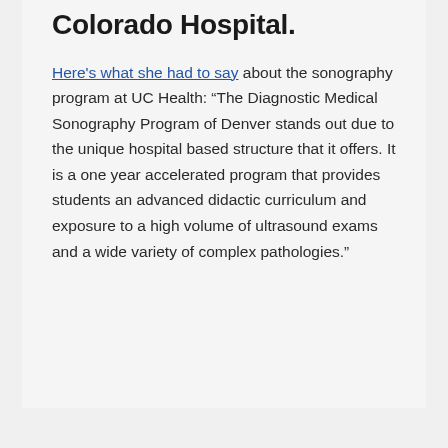Colorado Hospital.
Here's what she had to say about the sonography program at UC Health: “The Diagnostic Medical Sonography Program of Denver stands out due to the unique hospital based structure that it offers. It is a one year accelerated program that provides students an advanced didactic curriculum and exposure to a high volume of ultrasound exams and a wide variety of complex pathologies.”